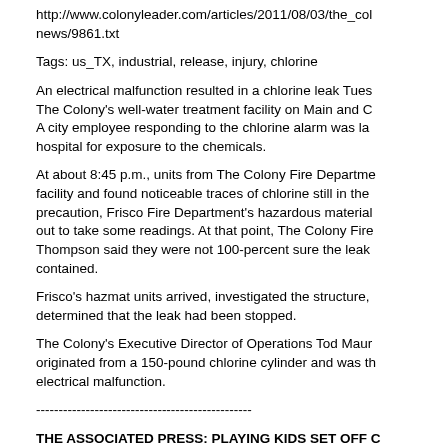http://www.colonyleader.com/articles/2011/08/03/the_col
news/9861.txt
Tags: us_TX, industrial, release, injury, chlorine
An electrical malfunction resulted in a chlorine leak Tues The Colony's well-water treatment facility on Main and C A city employee responding to the chlorine alarm was la hospital for exposure to the chemicals.
At about 8:45 p.m., units from The Colony Fire Departme facility and found noticeable traces of chlorine still in the precaution, Frisco Fire Department's hazardous material out to take some readings. At that point, The Colony Fire Thompson said they were not 100-percent sure the leak contained.
Frisco's hazmat units arrived, investigated the structure, determined that the leak had been stopped.
The Colony's Executive Director of Operations Tod Maur originated from a 150-pound chlorine cylinder and was th electrical malfunction.
------------------------------------------------
THE ASSOCIATED PRESS: PLAYING KIDS SET OFF C
http://www.google.com/hostednews/ap/article/ALeqM5j_
Ftqg?docId=74f8f2f17f2b4db6bc078f002f4e39a5
Tags: us_KY, public, explosion, injury, tear_gas
LOUISVILLE, Ky. (AP) =97 A tear gas grenade its owner